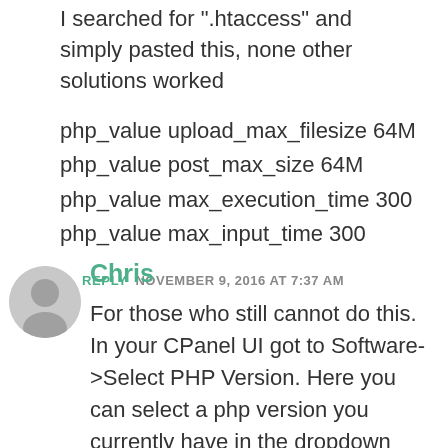I searched for ".htaccess" and simply pasted this, none other solutions worked
php_value upload_max_filesize 64M
php_value post_max_size 64M
php_value max_execution_time 300
php_value max_input_time 300
↩ REPLY   NOVEMBER 9, 2016 AT 7:37 AM
Chris
For those who still cannot do this. In your CPanel UI got to Software->Select PHP Version. Here you can select a php version you currently have in the dropdown (Just make sure the version you select does not say default). Now you will see many checkboxes, and in the